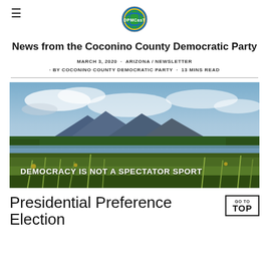≡ [DPMCasT logo]
News from the Coconino County Democratic Party
MARCH 3, 2020 · ARIZONA / NEWSLETTER · BY COCONINO COUNTY DEMOCRATIC PARTY · 13 MINS READ
[Figure (photo): Landscape photo of a wetland with reeds and grasses in the foreground, a lake reflecting blue sky, mountains and trees in the background, with white text overlay reading 'DEMOCRACY IS NOT A SPECTATOR SPORT']
Presidential Preference Election